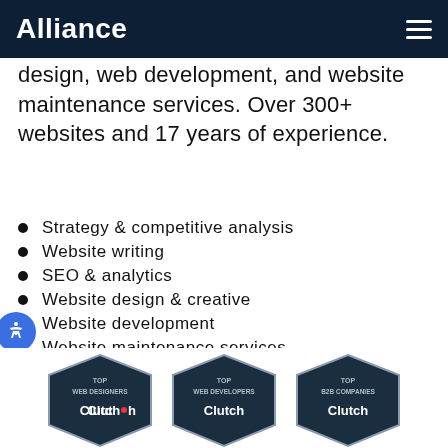Alliance
design, web development, and website maintenance services. Over 300+ websites and 17 years of experience.
Strategy & competitive analysis
Website writing
SEO & analytics
Website design & creative
Website development
Website maintenance services
[Figure (logo): Three Clutch award badges: TOP WEB DESIGNERS, TOP WEB DEVELOPERS, TOP B2B COMPANIES]